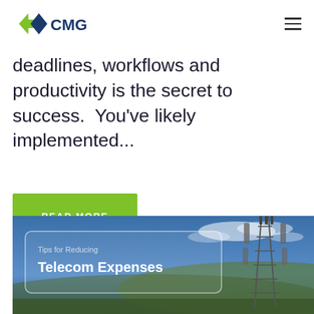[Figure (logo): CMG logo with green and blue chevron/diamond shapes and CMG text in dark blue]
deadlines, workflows and productivity is the secret to success.  You've likely implemented...
READ MORE
[Figure (photo): Background photo of a telecom tower against a blue sky with landscape below, with overlay text box reading 'Tips for Reducing Telecom Expenses']